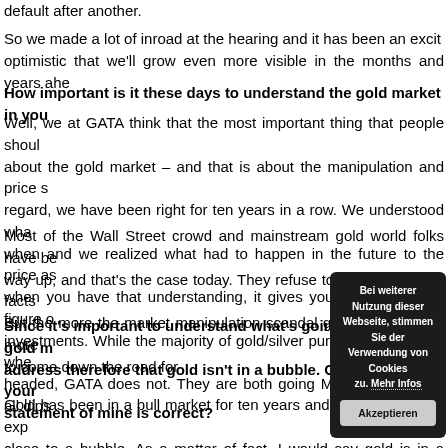default after another.
So we made a lot of inroad at the hearing and it has been an exciting optimistic that we'll grow even more visible in the months and years ahead.
How important is it these days to understand the gold market in you
Well, we at GATA think that the most important thing that people should about the gold market – and that is about the manipulation and price s regard, we have been right for ten years in a row. We understood wha when and we realized what had to happen in the future to the price as when you have that understanding, it gives you a framework to figure ou investments. While the majority of gold/silver pundits flip flop over whe headed, GATA does not. They are both going MUCH higher and all dips s
Most of the Wall Street crowd and mainstream gold world folks have be way up, and that's the case today. They refuse to deal with all the facts But the more the market manipulation scandal gets exposed, the more to come down the road for
Since it's important to understand what's going on at the gold m address therefore that gold isn't in a bubble. Can you give us your statement of mine is correct?
Gold has been in a bull market for ten years and now it's about to exp close to a bubble. As a matter of fact, I would say gold is in a reverse